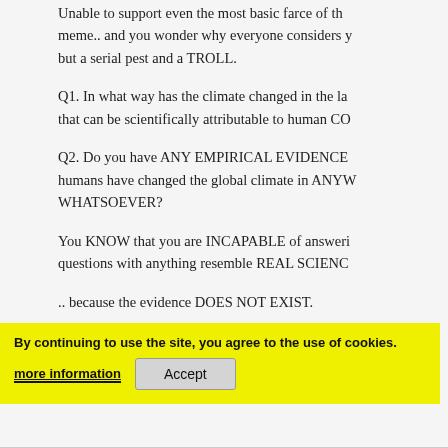Unable to support even the most basic farce of the meme.. and you wonder why everyone considers you but a serial pest and a TROLL.
Q1. In what way has the climate changed in the la that can be scientifically attributable to human CO
Q2. Do you have ANY EMPIRICAL EVIDENCE humans have changed the global climate in ANY WHATSOEVER?
You KNOW that you are INCAPABLE of answeri questions with anything resemble REAL SCIENC
.. because the evidence DOES NOT EXIST.
hence your continued pointless headless-chook a routines.
By continuing to use the site, you agree to the use of cookies.
more information   Accept